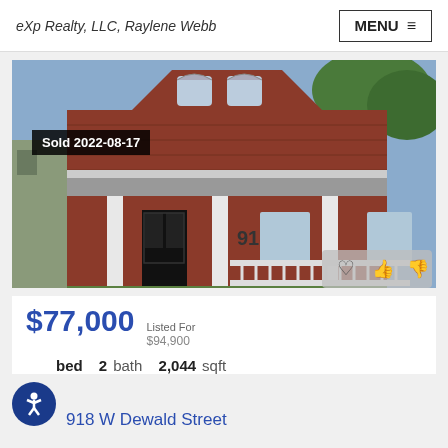eXp Realty, LLC, Raylene Webb
[Figure (photo): Exterior photo of a two-story red brick house at 918, with white front porch columns and a covered porch. Badge reads 'Sold 2022-08-17'.]
$77,000  Listed For $94,900
3 bed  2 bath  2,044 sqft
918 W Dewald Street